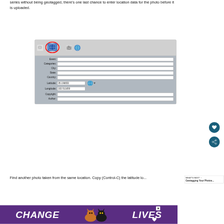series without being geotagged, there's one last chance to enter location data for the photo before it is uploaded.
[Figure (screenshot): Screenshot of a photo upload dialog with tabs for Event, Categories, City, State, Country, Latitude (35.196833), Longitude (102.511650), Copyright, Author fields. The globe/location icon tab is circled in red.]
Find another photo taken from the same location. Copy (Control-C) the latitude lo...
[Figure (photo): Advertisement banner: CHANGE LIVES with cat images on purple background]